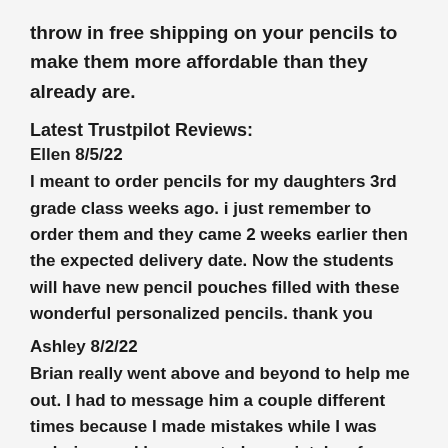throw in free shipping on your pencils to make them more affordable than they already are.
Latest Trustpilot Reviews:
Ellen 8/5/22
I meant to order pencils for my daughters 3rd grade class weeks ago. i just remember to order them and they came 2 weeks earlier then the expected delivery date. Now the students will have new pencil pouches filled with these wonderful personalized pencils. thank you
Ashley 8/2/22
Brian really went above and beyond to help me out. I had to message him a couple different times because I made mistakes while I was ordering, and he corrected my mistakes for me right away and made the process so easy! My pencils look AMAZING!